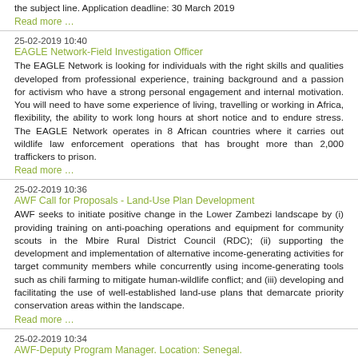the subject line. Application deadline: 30 March 2019
Read more …
25-02-2019 10:40
EAGLE Network-Field Investigation Officer
The EAGLE Network is looking for individuals with the right skills and qualities developed from professional experience, training background and a passion for activism who have a strong personal engagement and internal motivation. You will need to have some experience of living, travelling or working in Africa, flexibility, the ability to work long hours at short notice and to endure stress. The EAGLE Network operates in 8 African countries where it carries out wildlife law enforcement operations that has brought more than 2,000 traffickers to prison.
Read more …
25-02-2019 10:36
AWF Call for Proposals - Land-Use Plan Development
AWF seeks to initiate positive change in the Lower Zambezi landscape by (i) providing training on anti-poaching operations and equipment for community scouts in the Mbire Rural District Council (RDC); (ii) supporting the development and implementation of alternative income-generating activities for target community members while concurrently using income-generating tools such as chili farming to mitigate human-wildlife conflict; and (iii) developing and facilitating the use of well-established land-use plans that demarcate priority conservation areas within the landscape.
Read more …
25-02-2019 10:34
AWF-Deputy Program Manager. Location: Senegal.
The African Wildlife Foundation (AWF) is seeking a dynamic and high-performing individual to implement an integrated conservation and livelihoods